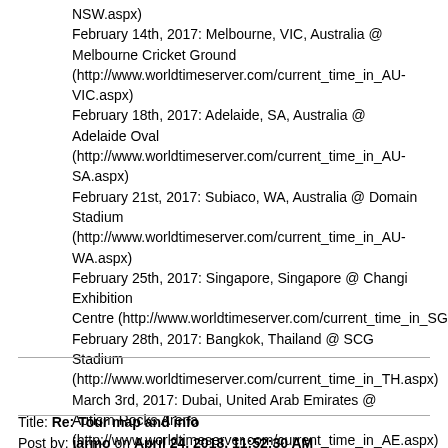NSW.aspx)
February 14th, 2017: Melbourne, VIC, Australia @ Melbourne Cricket Ground (http://www.worldtimeserver.com/current_time_in_AU-VIC.aspx)
February 18th, 2017: Adelaide, SA, Australia @ Adelaide Oval (http://www.worldtimeserver.com/current_time_in_AU-SA.aspx)
February 21st, 2017: Subiaco, WA, Australia @ Domain Stadium (http://www.worldtimeserver.com/current_time_in_AU-WA.aspx)
February 25th, 2017: Singapore, Singapore @ Changi Exhibition Centre (http://www.worldtimeserver.com/current_time_in_SG.aspx)
February 28th, 2017: Bangkok, Thailand @ SCG Stadium (http://www.worldtimeserver.com/current_time_in_TH.aspx)
March 3rd, 2017: Dubai, United Arab Emirates @ Autism Rocks Arena (http://www.worldtimeserver.com/current_time_in_AE.aspx)
Title: Re: Tour map and info
Post by: jarmo on April 24, 2018, 11:52:30 AM